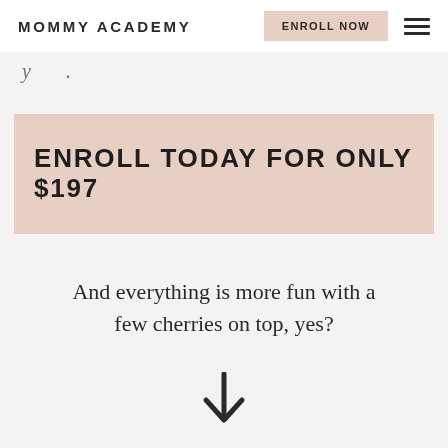MOMMY ACADEMY  ENROLL NOW
ENROLL TODAY FOR ONLY $197
And everything is more fun with a few cherries on top, yes?
[Figure (illustration): A downward-pointing arrow icon]